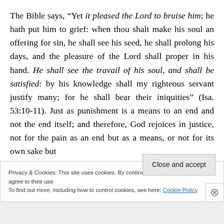The Bible says, “Yet it pleased the Lord to bruise him; he hath put him to grief: when thou shalt make his soul an offering for sin, he shall see his seed, he shall prolong his days, and the pleasure of the Lord shall proper in his hand. He shall see the travail of his soul, and shall be satisfied: by his knowledge shall my righteous servant justify many; for he shall bear their iniquities” (Isa. 53:10-11). Just as punishment is a means to an end and not the end itself; and therefore, God rejoices in justice, not for the pain as an end but as a means, or not for its own sake but
Privacy & Cookies: This site uses cookies. By continuing to use this website, you agree to their use.
To find out more, including how to control cookies, see here: Cookie Policy